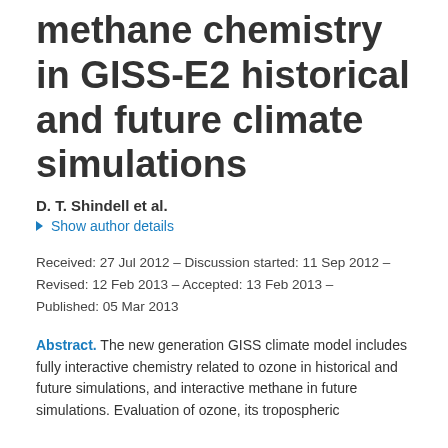methane chemistry in GISS-E2 historical and future climate simulations
D. T. Shindell et al.
▶ Show author details
Received: 27 Jul 2012 – Discussion started: 11 Sep 2012 – Revised: 12 Feb 2013 – Accepted: 13 Feb 2013 – Published: 05 Mar 2013
Abstract. The new generation GISS climate model includes fully interactive chemistry related to ozone in historical and future simulations, and interactive methane in future simulations. Evaluation of ozone, its tropospheric